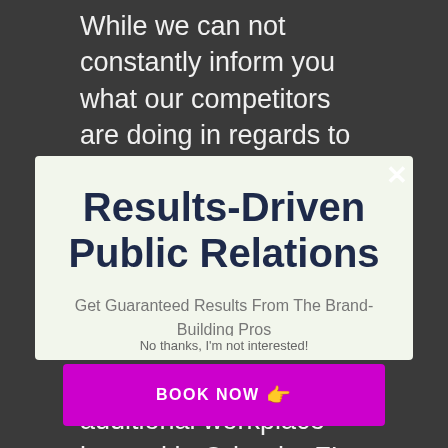While we can not constantly inform you what our competitors are doing in regards to prices, we understand that with Otter public relations, you can
Results-Driven Public Relations
Get Guaranteed Results From The Brand-Building Pros
BOOK NOW 👉
No thanks, I'm not interested!
Petersburg, FL, th additional workplace located in Orlando, FL. Because the company's